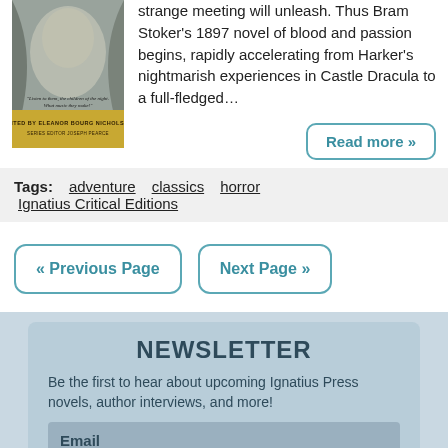[Figure (illustration): Book cover for a Bram Stoker Dracula edition, edited by Eleanor Bourg Nicholson, Series Editor Joseph Pearce. Dark gothic image with figures in shadow, gold text at bottom.]
strange meeting will unleash. Thus Bram Stoker's 1897 novel of blood and passion begins, rapidly accelerating from Harker's nightmarish experiences in Castle Dracula to a full-fledged…
Read more »
Tags: adventure   classics   horror   Ignatius Critical Editions
« Previous Page
Next Page »
NEWSLETTER
Be the first to hear about upcoming Ignatius Press novels, author interviews, and more!
Email
First Name
Last Name